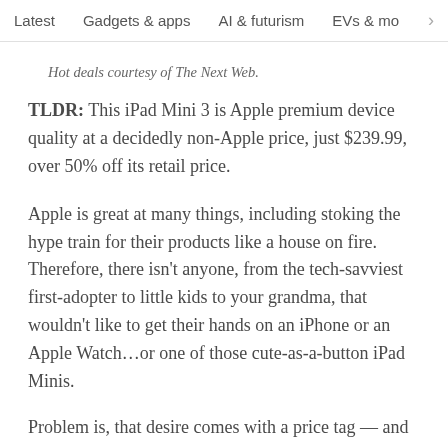Latest   Gadgets & apps   AI & futurism   EVs & mobil  >
Hot deals courtesy of The Next Web.
TLDR: This iPad Mini 3 is Apple premium device quality at a decidedly non-Apple price, just $239.99, over 50% off its retail price.
Apple is great at many things, including stoking the hype train for their products like a house on fire. Therefore, there isn't anyone, from the tech-savviest first-adopter to little kids to your grandma, that wouldn't like to get their hands on an iPhone or an Apple Watch...or one of those cute-as-a-button iPad Minis.
Problem is, that desire comes with a price tag — and